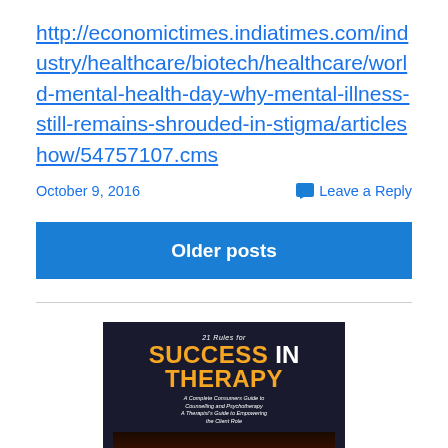http://economictimes.indiatimes.com/industry/healthcare/biotech/healthcare/world-mental-health-day-why-mental-illness-still-remains-shrouded-in-stigma/articleshow/54757107.cms
October 9, 2016
Leave a Reply
Older posts
[Figure (illustration): Book cover for '21 Rules for Success in Therapy: A Complete Consumers Guide to Counselling and Psychotherapy / A Therapist's Guide to Empowering the Client Role'. Dark background with red therapy chairs visible.]